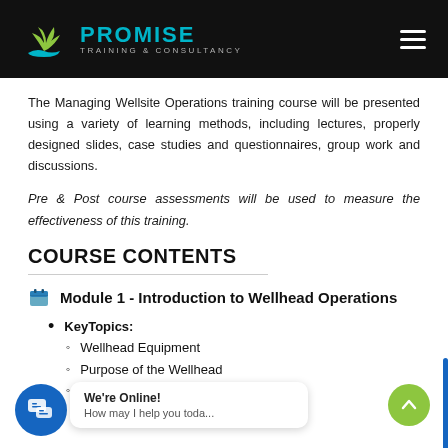PROMISE TRAINING & CONSULTANCY
The Managing Wellsite Operations training course will be presented using a variety of learning methods, including lectures, properly designed slides, case studies and questionnaires, group work and discussions.
Pre & Post course assessments will be used to measure the effectiveness of this training.
COURSE CONTENTS
Module 1 - Introduction to Wellhead Operations
KeyTopics:
Wellhead Equipment
Purpose of the Wellhead
Major Components of the Wellhead